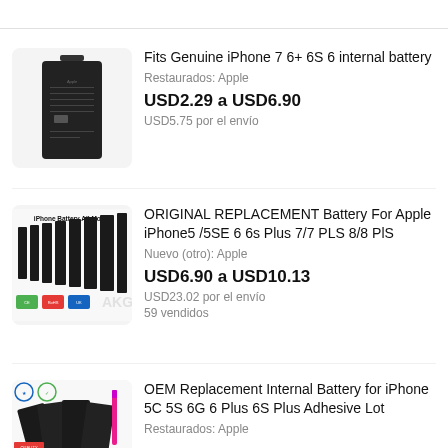[Figure (photo): iPhone internal battery, black rectangular component with connector]
Fits Genuine iPhone 7 6+ 6S 6 internal battery
Restaurados: Apple
USD2.29 a USD6.90
USD5.75 por el envío
[Figure (photo): iPhone Battery All Model - multiple iPhone batteries of increasing sizes displayed side by side with certification badges below]
ORIGINAL REPLACEMENT Battery For Apple iPhone5 /5SE 6 6s Plus 7/7 PLS 8/8 PlS
Nuevo (otro): Apple
USD6.90 a USD10.13
USD23.02 por el envío
59 vendidos
[Figure (photo): Multiple OEM replacement batteries for various iPhone models displayed with certification badges]
OEM Replacement Internal Battery for iPhone 5C 5S 6G 6 Plus 6S Plus Adhesive Lot
Restaurados: Apple